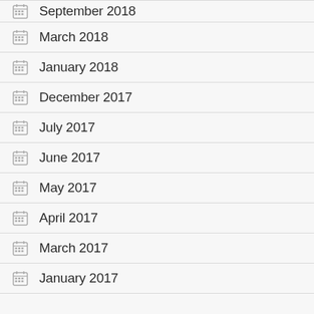September 2018
March 2018
January 2018
December 2017
July 2017
June 2017
May 2017
April 2017
March 2017
January 2017